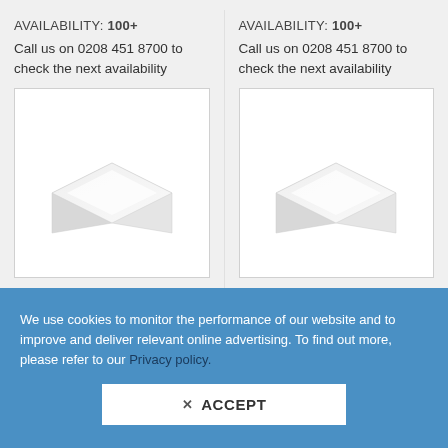AVAILABILITY: 100+
Call us on 0208 451 8700 to check the next availability
[Figure (photo): White flat panel LED light fixture, square shape viewed at an angle on a white background]
AVAILABILITY: 100+
Call us on 0208 451 8700 to check the next availability
[Figure (photo): White flat panel LED light fixture, square shape viewed at an angle on a white background]
We use cookies to monitor the performance of our website and to improve and deliver relevant online advertising. To find out more, please refer to our Privacy policy.
✕ ACCEPT